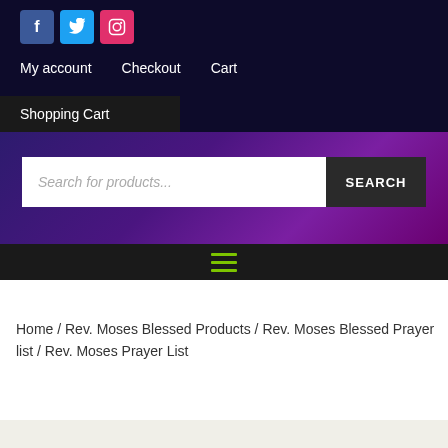[Figure (screenshot): Social media icons row: Facebook (blue square with f), Twitter (light blue square with bird icon), Instagram (pink square with camera icon)]
My account  Checkout  Cart
Shopping Cart
[Figure (screenshot): Purple/violet gradient hero banner with a search bar. Search input reads 'Search for products...' with a dark SEARCH button on the right.]
[Figure (screenshot): Dark menu bar with green hamburger icon (three horizontal lines)]
Home / Rev. Moses Blessed Products / Rev. Moses Blessed Prayer list / Rev. Moses Prayer List